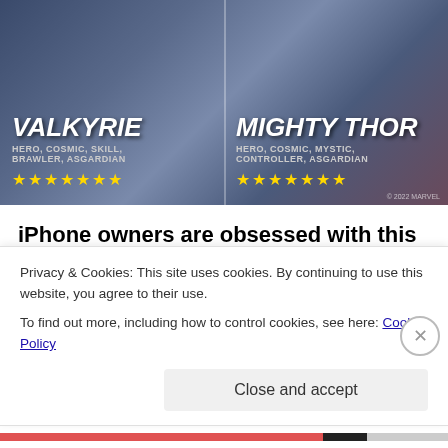[Figure (screenshot): Marvel Strike Force game promotional image showing two characters: Valkyrie (Hero, Cosmic, Skill, Brawler, Asgardian) with 7 gold stars on the left, and Mighty Thor (Hero, Cosmic, Mystic, Controller, Asgardian) with 7 gold stars on the right, on a dark blue/purple background.]
iPhone owners are obsessed with this Marvel game
MARVEL Strike Force
Privacy & Cookies: This site uses cookies. By continuing to use this website, you agree to their use.
To find out more, including how to control cookies, see here: Cookie Policy